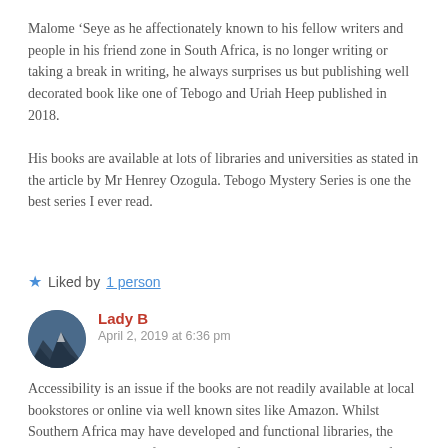Malome ‘Seye as he affectionately known to his fellow writers and people in his friend zone in South Africa, is no longer writing or taking a break in writing, he always surprises us but publishing well decorated book like one of Tebogo and Uriah Heep published in 2018.
His books are available at lots of libraries and universities as stated in the article by Mr Henrey Ozogula. Tebogo Mystery Series is one the best series I ever read.
★ Liked by 1 person
Lady B
April 2, 2019 at 6:36 pm
Accessibility is an issue if the books are not readily available at local bookstores or online via well known sites like Amazon. Whilst Southern Africa may have developed and functional libraries, the same cannot be said of many other African countries. It’s easier for me to get a copy of Michelle Obama’s Becoming in Nigeria, for instance, than Bolaji’s Tebogo Mystery Series books.